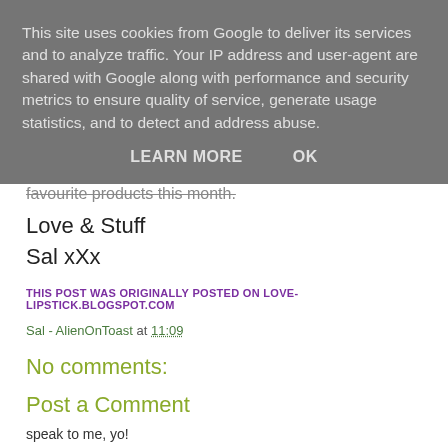This site uses cookies from Google to deliver its services and to analyze traffic. Your IP address and user-agent are shared with Google along with performance and security metrics to ensure quality of service, generate usage statistics, and to detect and address abuse.
LEARN MORE   OK
favourite products this month.
Love & Stuff
Sal xXx
THIS POST WAS ORIGINALLY POSTED ON LOVE-LIPSTICK.BLOGSPOT.COM
Sal - AlienOnToast at 11:09
No comments:
Post a Comment
speak to me, yo!